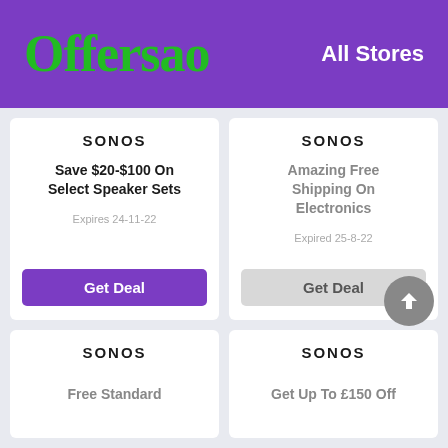Offersao — All Stores
SONOS
Save $20-$100 On Select Speaker Sets
Expires 24-11-22
Get Deal
SONOS
Amazing Free Shipping On Electronics
Expired 25-8-22
Get Deal
SONOS
Free Standard
SONOS
Get Up To £150 Off